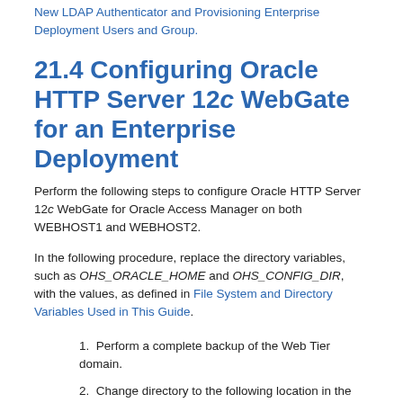New LDAP Authenticator and Provisioning Enterprise Deployment Users and Group.
21.4 Configuring Oracle HTTP Server 12c WebGate for an Enterprise Deployment
Perform the following steps to configure Oracle HTTP Server 12c WebGate for Oracle Access Manager on both WEBHOST1 and WEBHOST2.
In the following procedure, replace the directory variables, such as OHS_ORACLE_HOME and OHS_CONFIG_DIR, with the values, as defined in File System and Directory Variables Used in This Guide.
1. Perform a complete backup of the Web Tier domain.
2. Change directory to the following location in the Oracle...